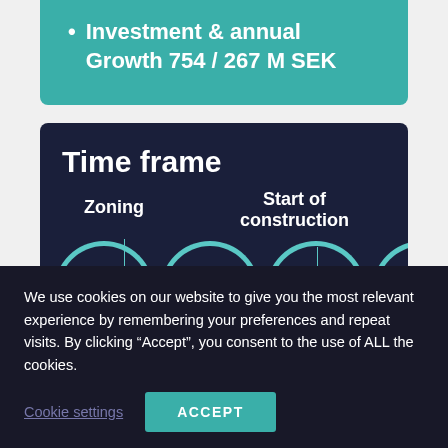Investment & annual Growth 754 / 267 M SEK
[Figure (infographic): Time frame infographic showing a dark navy background with the title 'Time frame', labels for 'Zoning' and 'Start of construction' with vertical connector lines, and quarter arc shapes at the bottom labeled Q4, Q1, Q3, Q2 in teal outlines.]
We use cookies on our website to give you the most relevant experience by remembering your preferences and repeat visits. By clicking “Accept”, you consent to the use of ALL the cookies.